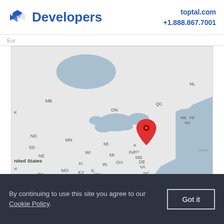Developers | toptal.com +1.888.867.7001
Eur...
[Figure (map): Map of eastern North America and Canada showing state/province abbreviations (MB, ND, MN, SD, NE, IL, IN, OH, WI, MI, NY, PA, MD, DE, VA, NC, SC, GA, TN, AR, MS, AL, MO, KY, WV, TX, OK, ON, QC, NB, PE, NS, NL, K) with a red map pin marker placed near the New York/Connecticut area on the US East Coast. The ocean/water areas are blue-gray and land is white/light gray.]
By continuing to use this site you agree to our Cookie Policy.
Got it